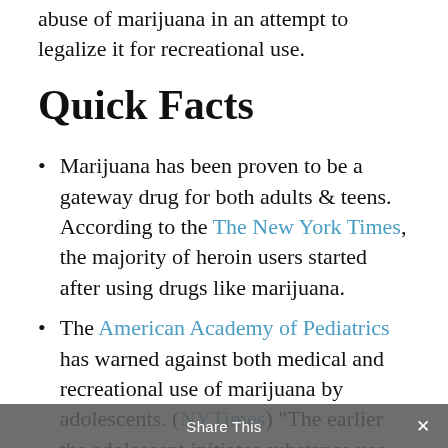abuse of marijuana in an attempt to legalize it for recreational use.
Quick Facts
Marijuana has been proven to be a gateway drug for both adults & teens. According to the The New York Times, the majority of heroin users started after using drugs like marijuana.
The American Academy of Pediatrics has warned against both medical and recreational use of marijuana by adolescents. (NYTimes) “The earlier the adolescent initiates substance use, the more likely a substance use disorder, such as dependence or addiction, is to
Share This ✕